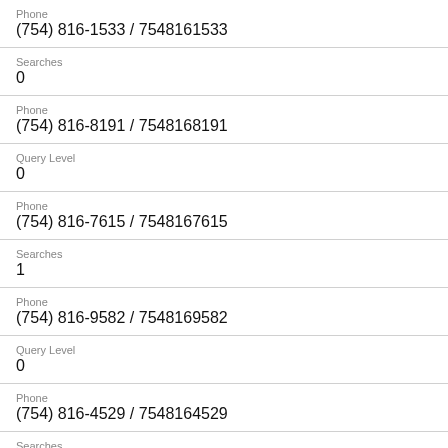Phone
(754) 816-1533 / 7548161533
Searches
0
Phone
(754) 816-8191 / 7548168191
Query Level
0
Phone
(754) 816-7615 / 7548167615
Searches
1
Phone
(754) 816-9582 / 7548169582
Query Level
0
Phone
(754) 816-4529 / 7548164529
Searches